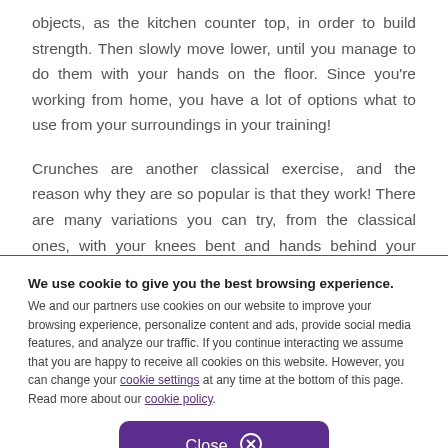objects, as the kitchen counter top, in order to build strength. Then slowly move lower, until you manage to do them with your hands on the floor. Since you're working from home, you have a lot of options what to use from your surroundings in your training!

Crunches are another classical exercise, and the reason why they are so popular is that they work! There are many variations you can try, from the classical ones, with your knees bent and hands behind your back, to side crunches or legs up. Pay attention not to arch your back, since the abdominals should be the ones
We use cookie to give you the best browsing experience. We and our partners use cookies on our website to improve your browsing experience, personalize content and ads, provide social media features, and analyze our traffic. If you continue interacting we assume that you are happy to receive all cookies on this website. However, you can change your cookie settings at any time at the bottom of this page. Read more about our cookie policy.
Close